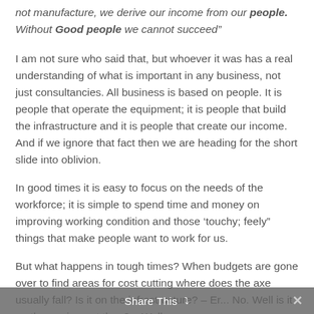not manufacture, we derive our income from our people. Without Good people we cannot succeed”
I am not sure who said that, but whoever it was has a real understanding of what is important in any business, not just consultancies. All business is based on people. It is people that operate the equipment; it is people that build the infrastructure and it is people that create our income. And if we ignore that fact then we are heading for the short slide into oblivion.
In good times it is easy to focus on the needs of the workforce; it is simple to spend time and money on improving working condition and those ‘touchy; feely” things that make people want to work for us.
But what happens in tough times? When budgets are gone over to find areas for cost cutting where does the axe usually fall? Is it on the infrastructure? – Er... No. Well is it on the equipment then? – Well, we
Share This